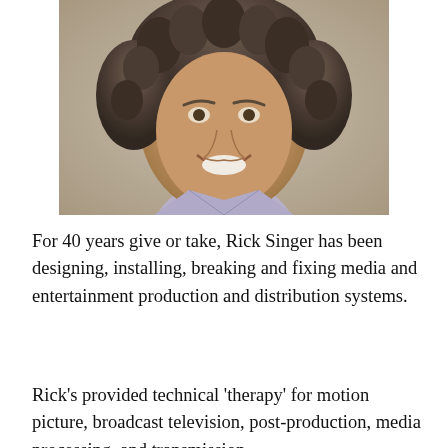[Figure (photo): Headshot photo of Rick Singer, a middle-aged man with curly gray-brown hair, smiling broadly, wearing a light blue collared shirt, photographed against a neutral beige/gray background.]
For 40 years give or take, Rick Singer has been designing, installing, breaking and fixing media and entertainment production and distribution systems.
Rick's provided technical 'therapy' for motion picture, broadcast television, post-production, media processing, and transmission